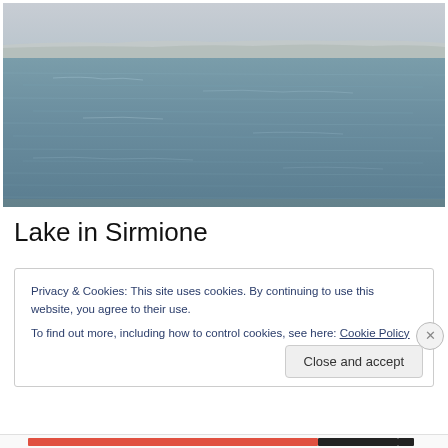[Figure (photo): Photograph of Lake in Sirmione — wide view of a calm blue-grey lake with a distant shoreline and overcast sky]
Lake in Sirmione
Privacy & Cookies: This site uses cookies. By continuing to use this website, you agree to their use.
To find out more, including how to control cookies, see here: Cookie Policy
Close and accept